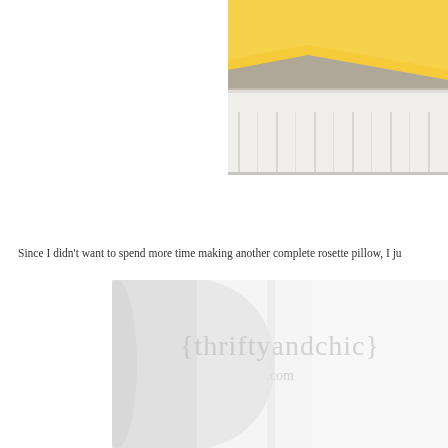[Figure (photo): Close-up photo of fabric pleats in white on a yellow and grey textured background, showing neatly folded pleats at the bottom of a bedskirt or similar textile item]
Since I didn't want to spend more time making another complete rosette pillow, I ju
[Figure (photo): Photo of a white fabric pillow or bedskirt with a watermark reading {thriftyandchic} .com overlaid in grey]